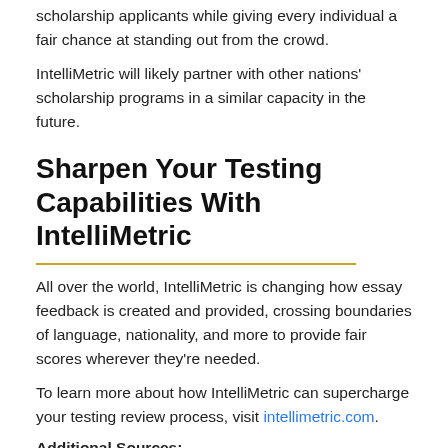scholarship applicants while giving every individual a fair chance at standing out from the crowd.
IntelliMetric will likely partner with other nations' scholarship programs in a similar capacity in the future.
Sharpen Your Testing Capabilities With IntelliMetric
All over the world, IntelliMetric is changing how essay feedback is created and provided, crossing boundaries of language, nationality, and more to provide fair scores wherever they're needed.
To learn more about how IntelliMetric can supercharge your testing review process, visit intellimetric.com.
Additional Sources:
Dikli, S. (2006). An Overview of Automated Scoring of Essays. The Journal of Technology, Learning and Assessment, 5(1). Retrieved from http://ejournals.bc.edu/ojs/index.php/jtla/article/view/1640